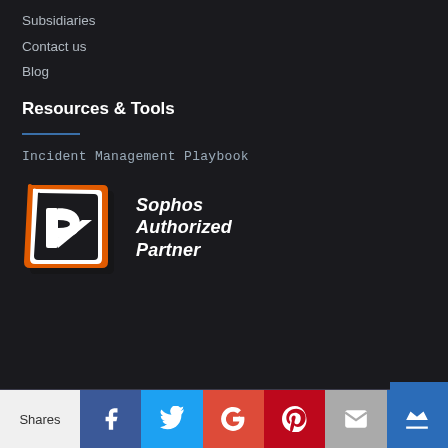Subsidiaries
Contact us
Blog
Resources & Tools
Incident Management Playbook
[Figure (logo): Sophos Authorized Partner badge: orange/white shield-shaped logo with stylized P arrow, text reads 'Sophos Authorized Partner' in italic white]
Copyright © 2022 Driz Group Inc. All Rights Reserved
[Figure (infographic): Social sharing bar with icons: Shares, Facebook, Twitter, Google+, Pinterest, Mail, Crown]